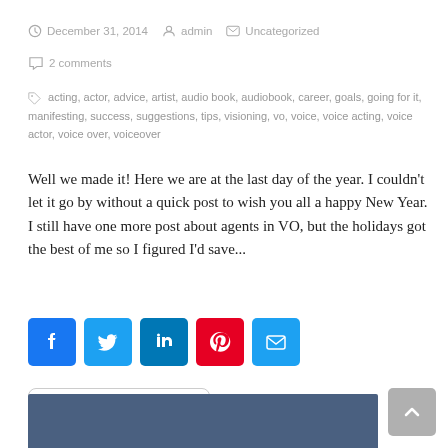December 31, 2014   admin   Uncategorized
2 comments
acting, actor, advice, artist, audio book, audiobook, career, goals, going for it, manifesting, success, suggestions, tips, visioning, vo, voice, voice acting, voice actor, voice over, voiceover
Well we made it! Here we are at the last day of the year. I couldn't let it go by without a quick post to wish you all a happy New Year. I still have one more post about agents in VO, but the holidays got the best of me so I figured I'd save...
[Figure (infographic): Social share buttons: Facebook (blue), Twitter (light blue), LinkedIn (dark blue), Pinterest (red), Email (light blue)]
READ MORE